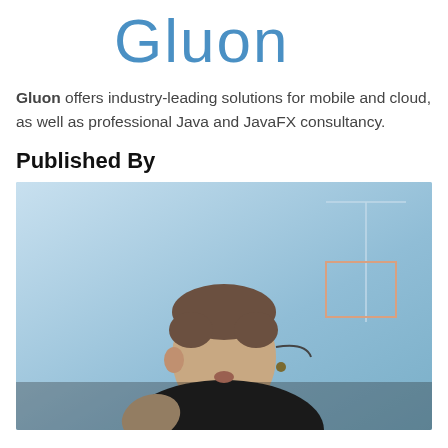[Figure (logo): Gluon logo in blue stylized text]
Gluon offers industry-leading solutions for mobile and cloud, as well as professional Java and JavaFX consultancy.
Published By
[Figure (photo): A man wearing a black shirt and headset microphone speaking at a conference, with a blue background]